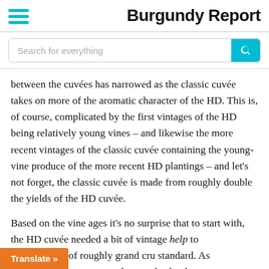Burgundy Report
Search for everything
between the cuvées has narrowed as the classic cuvée takes on more of the aromatic character of the HD. This is, of course, complicated by the first vintages of the HD being relatively young vines – and likewise the more recent vintages of the classic cuvée containing the young-vine produce of the more recent HD plantings – and let's not forget, the classic cuvée is made from roughly double the yields of the HD cuvée.
Based on the vine ages it's no surprise that to start with, the HD cuvée needed a bit of vintage help to …ing of roughly grand cru standard. As …o mature a grand cru style slowly
Translate »